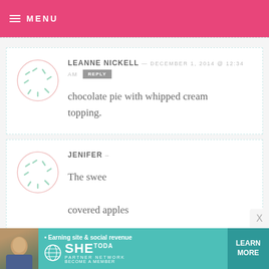MENU
LEANNE NICKELL — DECEMBER 1, 2014 @ 12:34 AM  REPLY

chocolate pie with whipped cream topping.
JENIFER –

The swee

covered apples
[Figure (infographic): SHE Partner Network advertisement banner with woman photo, text 'Earning site & social revenue', SHE logo, and LEARN MORE button]